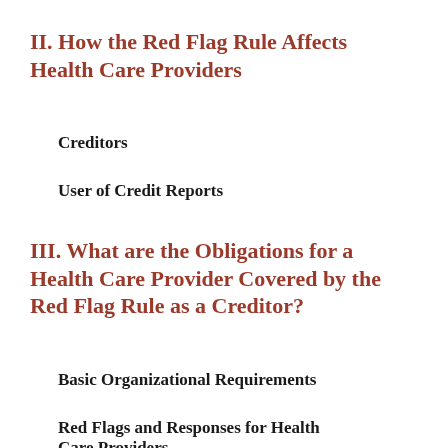II. How the Red Flag Rule Affects Health Care Providers
Creditors
User of Credit Reports
III. What are the Obligations for a Health Care Provider Covered by the Red Flag Rule as a Creditor?
Basic Organizational Requirements
Red Flags and Responses for Health Care Providers